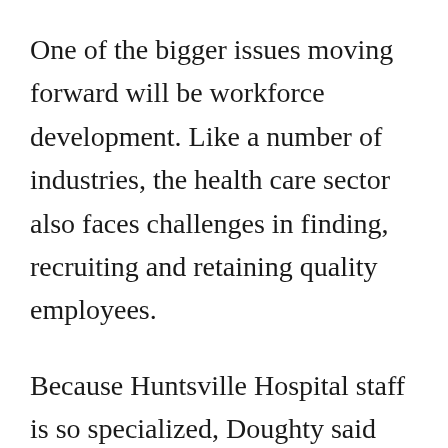One of the bigger issues moving forward will be workforce development. Like a number of industries, the health care sector also faces challenges in finding, recruiting and retaining quality employees.
Because Huntsville Hospital staff is so specialized, Doughty said making Huntsville attractive to potential newcomers is critical. That's why